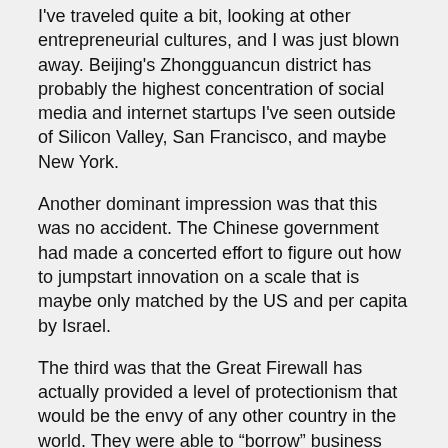I've traveled quite a bit, looking at other entrepreneurial cultures, and I was just blown away. Beijing's Zhongguancun district has probably the highest concentration of social media and internet startups I've seen outside of Silicon Valley, San Francisco, and maybe New York.
Another dominant impression was that this was no accident. The Chinese government had made a concerted effort to figure out how to jumpstart innovation on a scale that is maybe only matched by the US and per capita by Israel.
The third was that the Great Firewall has actually provided a level of protectionism that would be the envy of any other country in the world. They were able to “borrow” business models, and copy and adapt and adopt business models unfettered by US competition. The Great Firewall is unfair to competition but it’s worked great for Chinese software start-ups.
I think it’s a phase, not anything bad or culturally wrong—